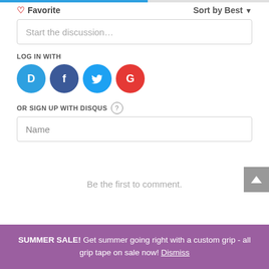♡ Favorite
Sort by Best ▾
Start the discussion…
LOG IN WITH
[Figure (logo): Social login icons: Disqus (blue), Facebook (dark blue), Twitter (light blue), Google (red)]
OR SIGN UP WITH DISQUS ?
Name
Be the first to comment.
SUMMER SALE! Get summer going right with a custom grip - all grip tape on sale now! Dismiss